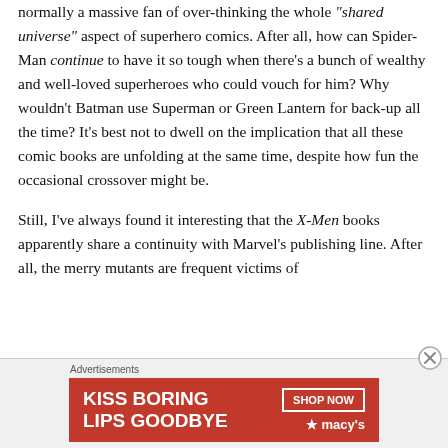normally a massive fan of over-thinking the whole “shared universe” aspect of superhero comics. After all, how can Spider-Man continue to have it so tough when there’s a bunch of wealthy and well-loved superheroes who could vouch for him? Why wouldn’t Batman use Superman or Green Lantern for back-up all the time? It’s best not to dwell on the implication that all these comic books are unfolding at the same time, despite how fun the occasional crossover might be.
Still, I’ve always found it interesting that the X-Men books apparently share a continuity with Marvel’s publishing line. After all, the merry mutants are frequent victims of
[Figure (other): Advertisement banner for Macy's: 'KISS BORING LIPS GOODBYE' with 'SHOP NOW' button and Macy's star logo on red background]